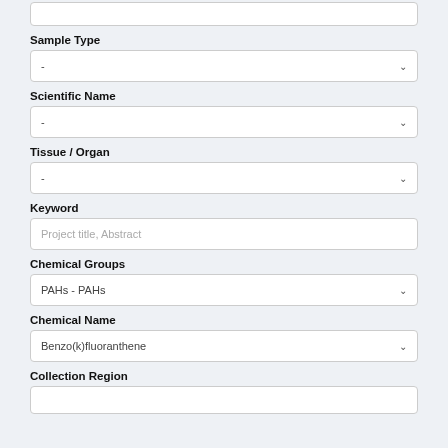Sample Type
[Figure (screenshot): Dropdown field with dash placeholder for Sample Type]
Scientific Name
[Figure (screenshot): Dropdown field with dash placeholder for Scientific Name]
Tissue / Organ
[Figure (screenshot): Dropdown field with dash placeholder for Tissue / Organ]
Keyword
[Figure (screenshot): Text input field with placeholder text 'Project title, Abstract']
Chemical Groups
[Figure (screenshot): Dropdown field showing 'PAHs - PAHs']
Chemical Name
[Figure (screenshot): Dropdown field showing 'Benzo(k)fluoranthene']
Collection Region
[Figure (screenshot): Dropdown field at bottom, partially visible]